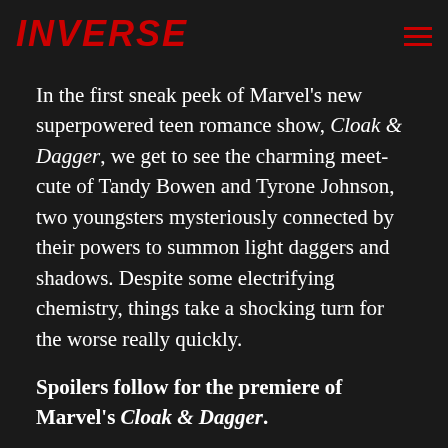INVERSE
In the first sneak peek of Marvel's new superpowered teen romance show, Cloak & Dagger, we get to see the charming meet-cute of Tandy Bowen and Tyrone Johnson, two youngsters mysteriously connected by their powers to summon light daggers and shadows. Despite some electrifying chemistry, things take a shocking turn for the worse really quickly.
Spoilers follow for the premiere of Marvel's Cloak & Dagger.
ADVERTISEMENT